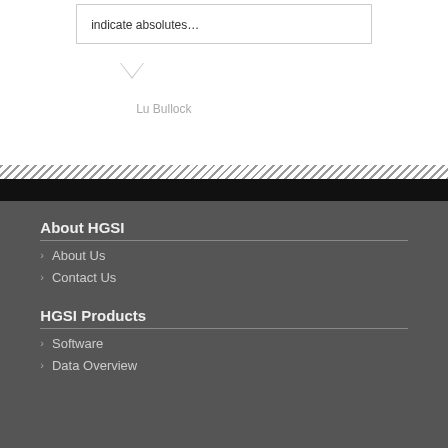indicate absolutes…
Lu Bullock
About HGSI
About Us
Contact Us
HGSI Products
Software
Data Overview